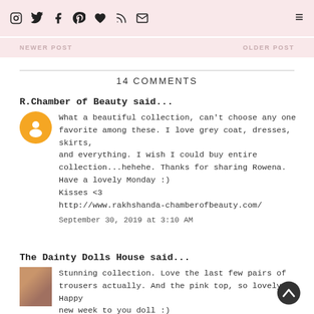Social media icons and navigation bar with NEWER POST and OLDER POST links
14 COMMENTS
R.Chamber of Beauty said...
What a beautiful collection, can't choose any one favorite among these. I love grey coat, dresses, skirts, and everything. I wish I could buy entire collection...hehehe. Thanks for sharing Rowena. Have a lovely Monday :)
Kisses <3
http://www.rakhshanda-chamberofbeauty.com/
September 30, 2019 at 3:10 AM
The Dainty Dolls House said...
Stunning collection. Love the last few pairs of trousers actually. And the pink top, so lovely. Happy new week to you doll :)